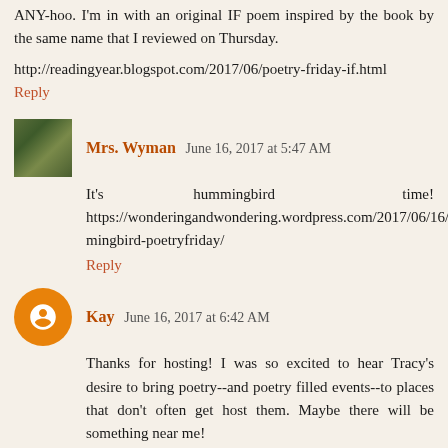ANY-hoo. I'm in with an original IF poem inspired by the book by the same name that I reviewed on Thursday.
http://readingyear.blogspot.com/2017/06/poetry-friday-if.html
Reply
Mrs. Wyman  June 16, 2017 at 5:47 AM
It's hummingbird time! https://wonderingandwondering.wordpress.com/2017/06/16/hummingbird-poetryfriday/
Reply
Kay  June 16, 2017 at 6:42 AM
Thanks for hosting! I was so excited to hear Tracy's desire to bring poetry--and poetry filled events--to places that don't often get host them. Maybe there will be something near me!
This week I'm sharing a bit about Marilyn Singer's book MIRROR MIRROR and I tried writing a reverso poem myself.